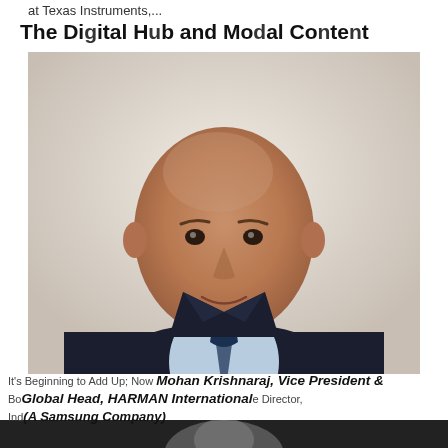at Texas Instruments,...
The Digital Hub and Modal Creat...
[Figure (photo): Professional headshot of a bald man in a dark suit with a patterned tie, smiling, against a light background.]
It's Beginning to Add Up; Now  Mohan Krishnaraj, Vice President & Board member, Renewable Energy Associate Director, Global Head, HARMAN International India (A Samsung Company)
[Figure (photo): Partial view of a second person's headshot at the bottom of the page, dark background.]